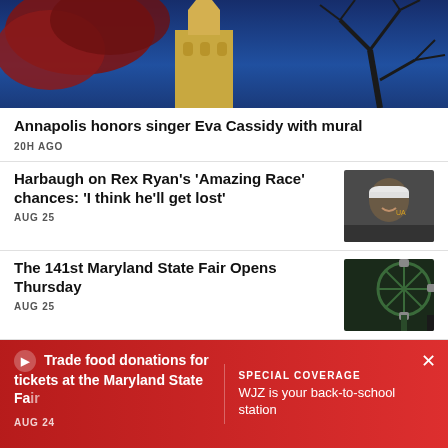[Figure (photo): Photo of a church steeple lit in golden light against a deep blue sky with bare tree branches on the right and red autumn leaves on the left]
Annapolis honors singer Eva Cassidy with mural
20H AGO
Harbaugh on Rex Ryan's 'Amazing Race' chances: 'I think he'll get lost'
AUG 25
[Figure (photo): Photo of a man in a white baseball cap and black shirt, smiling, appears to be a coach or sports figure]
The 141st Maryland State Fair Opens Thursday
AUG 25
[Figure (photo): Photo of a Ferris wheel or carnival ride with green structure against a dark background at the Maryland State Fair]
Trade food donations for tickets at the Maryland State Fair
AUG 24
SPECIAL COVERAGE
WJZ is your back-to-school station